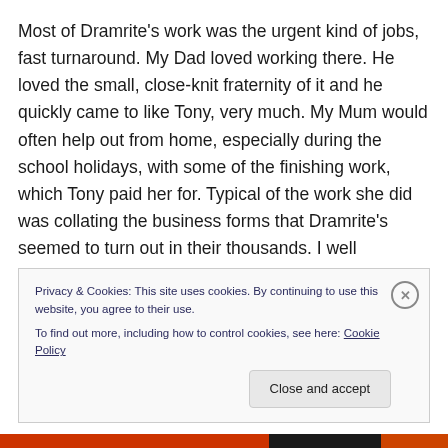Most of Dramrite's work was the urgent kind of jobs, fast turnaround. My Dad loved working there. He loved the small, close-knit fraternity of it and he quickly came to like Tony, very much. My Mum would often help out from home, especially during the school holidays, with some of the finishing work, which Tony paid her for. Typical of the work she did was collating the business forms that Dramrite's seemed to turn out in their thousands. I well remember the four piles of different coloured paper that seemed to live semi-permanently on a table in our front
Privacy & Cookies: This site uses cookies. By continuing to use this website, you agree to their use.
To find out more, including how to control cookies, see here: Cookie Policy
Close and accept